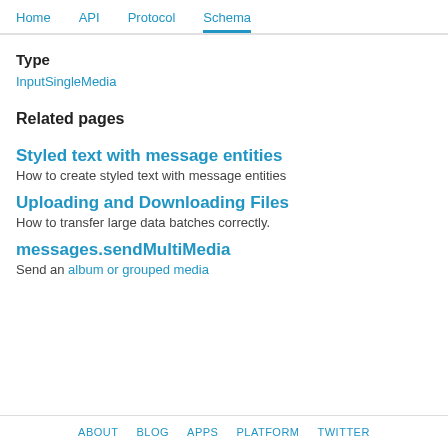Home   API   Protocol   Schema
Type
InputSingleMedia
Related pages
Styled text with message entities
How to create styled text with message entities
Uploading and Downloading Files
How to transfer large data batches correctly.
messages.sendMultiMedia
Send an album or grouped media
ABOUT   BLOG   APPS   PLATFORM   TWITTER